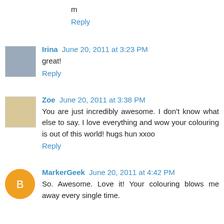m
Reply
Irina June 20, 2011 at 3:23 PM
great!
Reply
Zoe June 20, 2011 at 3:38 PM
You are just incredibly awesome. I don't know what else to say. I love everything and wow your colouring is out of this world! hugs hun xxoo
Reply
MarkerGeek June 20, 2011 at 4:42 PM
So. Awesome. Love it! Your colouring blows me away every single time.